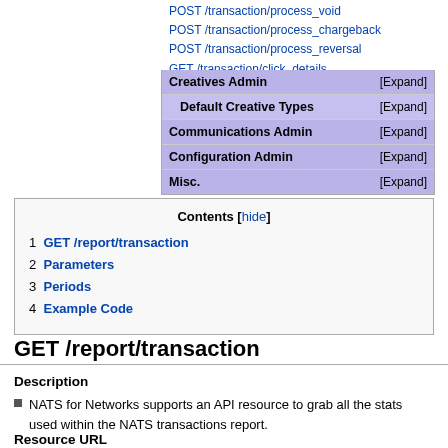POST /transaction/process_void
POST /transaction/process_chargeback
POST /transaction/process_reversal
GET /transaction/click_details
| Creatives Admin | [Expand] |
| Default Creative Types | [Expand] |
| Communications Admin | [Expand] |
| Configuration Admin | [Expand] |
| Misc. | [Expand] |
Contents [hide]
1 GET /report/transaction
2 Parameters
3 Periods
4 Example Code
GET /report/transaction
Description
NATS for Networks supports an API resource to grab all the stats used within the NATS transactions report.
Resource URL